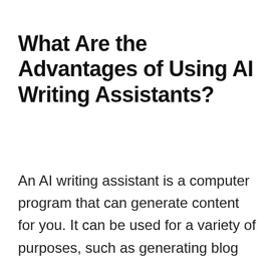What Are the Advantages of Using AI Writing Assistants?
An AI writing assistant is a computer program that can generate content for you. It can be used for a variety of purposes, such as generating blog